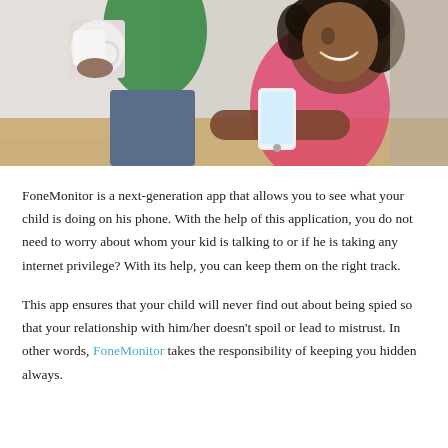[Figure (photo): A young girl in a pink shirt smiling and looking at a white smartphone, with an adult in a green top standing behind her holding a white mug.]
FoneMonitor is a next-generation app that allows you to see what your child is doing on his phone. With the help of this application, you do not need to worry about whom your kid is talking to or if he is taking any internet privilege? With its help, you can keep them on the right track.
This app ensures that your child will never find out about being spied so that your relationship with him/her doesn't spoil or lead to mistrust. In other words, FoneMonitor takes the responsibility of keeping you hidden always.